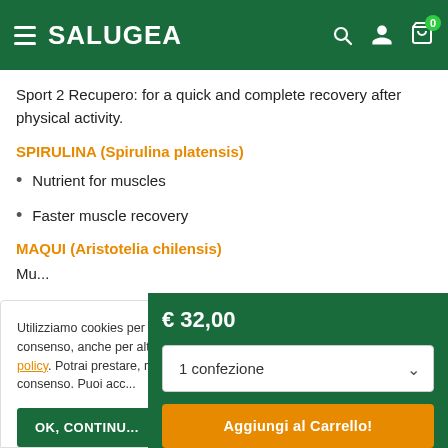SALUGEA
Sport 2 Recupero: for a quick and complete recovery after physical activity.
SPIRULINA (Spirulina platensis)
Nutrient for muscles
Faster muscle recovery
MAQUI (Aristotelia chilensis)
Utilizziamo cookies per finalità tecniche e, con il tuo consenso, anche per altre finalità come da Cookie policy. Potrai prestare, rifiutare o revocare il tuo consenso. Puoi acc...
€ 32,00
1 confezione
Aggiungi al Carrello!
Antioxidant acti...